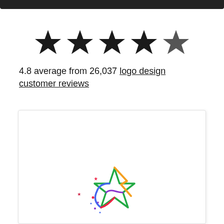[Figure (other): Dark top navigation bar]
[Figure (other): Five black star rating icons displayed in a row]
4.8 average from 26,037 logo design customer reviews
[Figure (logo): Colorful shooting star / cursor logo mark in rainbow colors (red, orange, yellow, green, blue, purple) with small sparkle stars around it, partially visible at bottom of framed box]